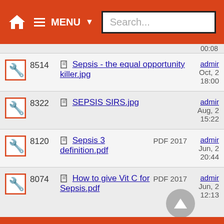[Figure (screenshot): Navigation bar with home icon, menu button, and search box on orange/red background]
00:08
8514  Sepsis - the equal opportunity killer.jpg  admin Oct, 2 18:00
8322  SEPSIS SIRS.jpg  admin Aug, 2 15:22
8120  Sepsis 3 definition.pdf  PDF 2017  admin Jun, 2 20:44
8074  How to give Vit C for Sepsis.pdf  PDF 2017  admin Jun, 2 12:13